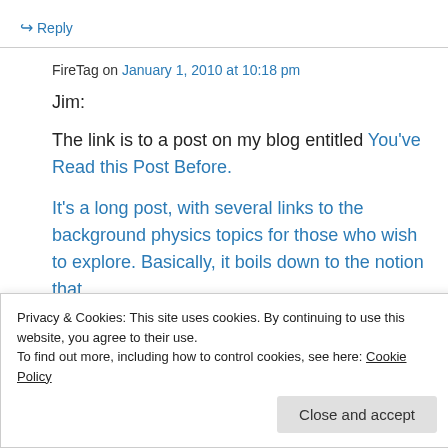↪ Reply
FireTag on January 1, 2010 at 10:18 pm
Jim:
The link is to a post on my blog entitled You've Read this Post Before.
It's a long post, with several links to the background physics topics for those who wish to explore. Basically, it boils down to the notion that
Privacy & Cookies: This site uses cookies. By continuing to use this website, you agree to their use.
To find out more, including how to control cookies, see here: Cookie Policy
Close and accept
configurations have to be used over and over